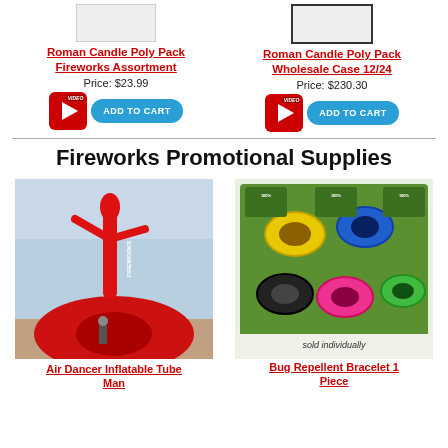[Figure (photo): Roman Candle Poly Pack Fireworks Assortment product image]
Roman Candle Poly Pack Fireworks Assortment
Price: $23.99
[Figure (other): Video play button and Add to Cart button for Roman Candle Poly Pack Fireworks Assortment]
[Figure (photo): Roman Candle Poly Pack Wholesale Case 12/24 product image]
Roman Candle Poly Pack Wholesale Case 12/24
Price: $230.30
[Figure (other): Video play button and Add to Cart button for Roman Candle Poly Pack Wholesale Case 12/24]
Fireworks Promotional Supplies
[Figure (photo): Air Dancer Inflatable Tube Man inside a fireworks tent/warehouse with red inflatable figure and red tent]
[Figure (photo): Bug Repellent Bracelet 1 Piece - colorful coil bracelets in green packaging labeled 100%, sold individually]
Air Dancer Inflatable Tube Man
Bug Repellent Bracelet 1 Piece